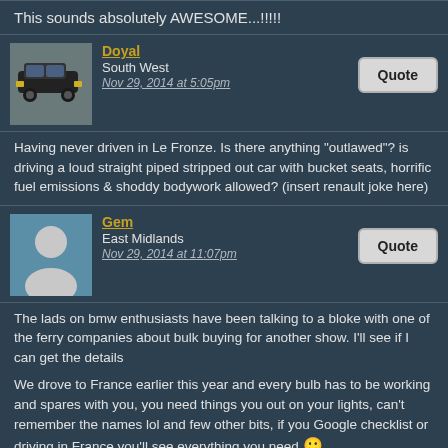This sounds absolutely AWESOME...!!!!!
Doyal
South West
Nov 29, 2014 at 5:05pm
Having never driven in Le Fronze. Is there anything "outlawed"? is driving a loud straight piped stripped out car with bucket seats, horrific fuel emissions & shoddy bodywork allowed? (insert renault joke here)
Gem
East Midlands
Nov 29, 2014 at 11:07pm
The lads on bmw enthusiasts have been talking to a bloke with one of the ferry companies about bulk buying for another show. I'll see if I can get the details

We drove to France earlier this year and every bulb has to be working and spares with you, you need things you out on your lights, can't remember the names lol and few other bits, if you Google checklist or driving in France you'll see everything you need 🙂
georgeb
Posted hell of a lot
★★★★